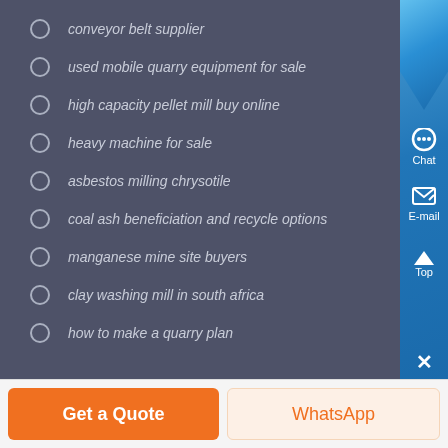conveyor belt supplier
used mobile quarry equipment for sale
high capacity pellet mill buy online
heavy machine for sale
asbestos milling chrysotile
coal ash beneficiation and recycle options
manganese mine site buyers
clay washing mill in south africa
how to make a quarry plan
Get a Quote
WhatsApp